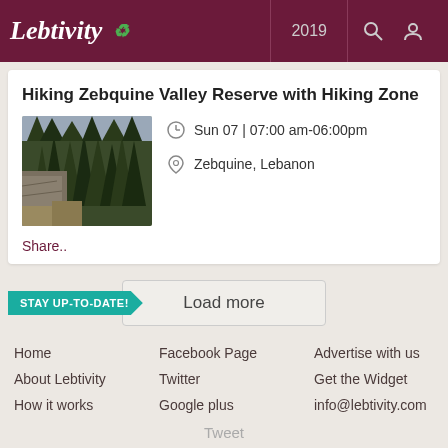Lebtivity 2019
Hiking Zebquine Valley Reserve with Hiking Zone
[Figure (photo): Forest/nature scene showing dense pine trees with rock face, Zebquine Valley Reserve]
Sun 07 | 07:00 am-06:00pm
Zebquine, Lebanon
Share..
Load more
STAY UP-TO-DATE!
Home
Facebook Page
Advertise with us
About Lebtivity
Twitter
Get the Widget
How it works
Google plus
info@lebtivity.com
Tweet
© Lebtivity 2022. All rights reserved. Privacy Policy